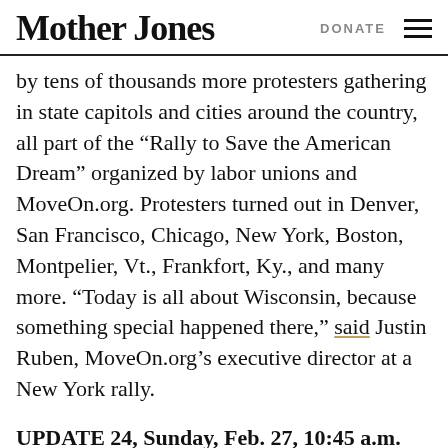Mother Jones | DONATE
by tens of thousands more protesters gathering in state capitols and cities around the country, all part of the “Rally to Save the American Dream” organized by labor unions and MoveOn.org. Protesters turned out in Denver, San Francisco, Chicago, New York, Boston, Montpelier, Vt., Frankfort, Ky., and many more. “Today is all about Wisconsin, because something special happened there,” said Justin Ruben, MoveOn.org’s executive director at a New York rally.
UPDATE 24, Sunday, Feb. 27, 10:45 a.m. CST: The day after as many as 100,000 people—the estimates varied depending on whom you asked—flooded the